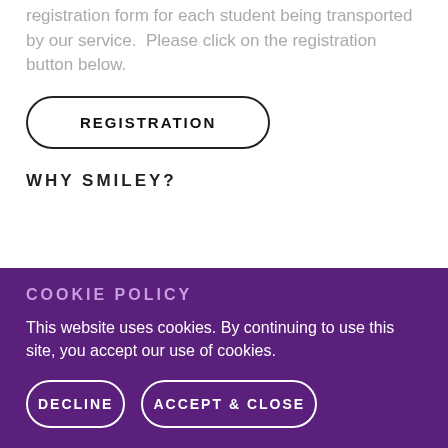Our unique scheduling system requires a registration form for each student being transported by our service.  Please click on the registration button below.
REGISTRATION
WHY SMILEY?
COOKIE POLICY
This website uses cookies. By continuing to use this site, you accept our use of cookies.
DECLINE
ACCEPT & CLOSE